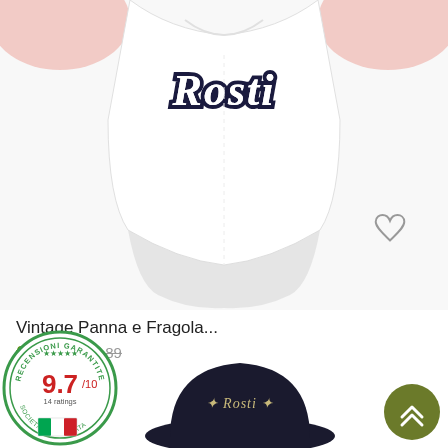[Figure (photo): White Rosti cycling jersey with dark navy 'Rosti' script logo on chest, person wearing it with arms outstretched, cropped at top. Bottom hem visible, jersey tapers at waist.]
Vintage Panna e Fragola...
€65.51  €81.89
[Figure (logo): Recensioni Garantite badge: circular green-border seal with '9.7/10' rating in red and '14 ratings' text, Italian flag ribbon at bottom.]
[Figure (photo): Dark navy Rosti bucket hat partially visible at bottom of page.]
[Figure (other): Olive/dark yellow circular button with upward chevron arrows (scroll-to-top button) at bottom right.]